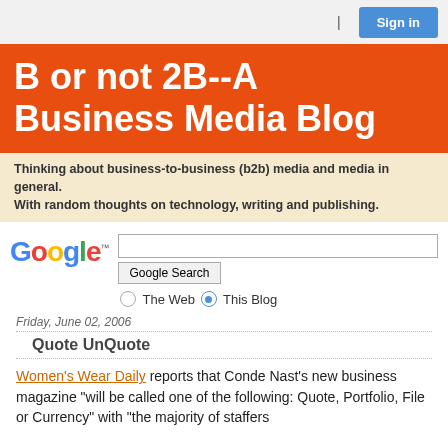Sign in
B or not 2B--A Business Media Blog
Thinking about business-to-business (b2b) media and media in general. With random thoughts on technology, writing and publishing.
[Figure (screenshot): Google search box with Google Search button, The Web and This Blog radio buttons]
Friday, June 02, 2006
Quote UnQuote
Women's Wear Daily reports that Conde Nast's new business magazine "will be called one of the following: Quote, Portfolio, File or Currency" with "the majority of staffers